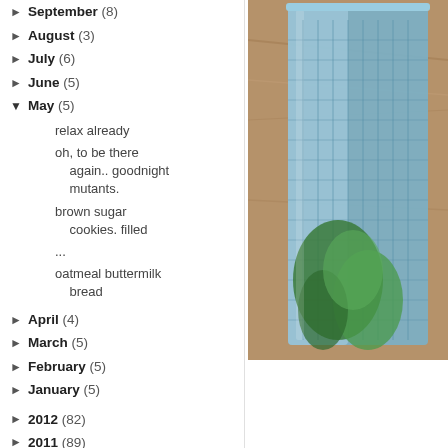► September (8)
► August (3)
► July (6)
► June (5)
▼ May (5)
relax already
oh, to be there again.. goodnight mutants.
brown sugar cookies. filled
...
oatmeal buttermilk bread
► April (4)
► March (5)
► February (5)
► January (5)
► 2012 (82)
► 2011 (89)
[Figure (photo): Close-up photo of a metallic grater or strainer with green herbs/plants visible, placed on a wooden surface.]
the windows are open, i'm alone, weekend, and i have a zucchini b...